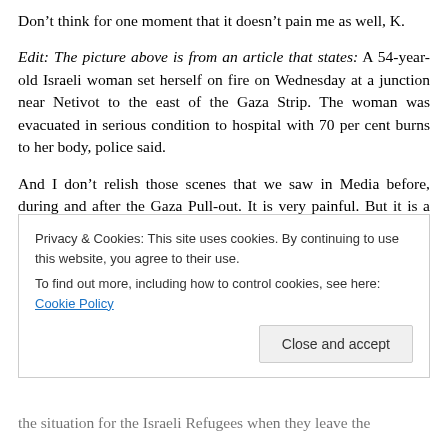Don't think for one moment that it doesn't pain me as well, K.
Edit: The picture above is from an article that states: A 54-year-old Israeli woman set herself on fire on Wednesday at a junction near Netivot to the east of the Gaza Strip. The woman was evacuated in serious condition to hospital with 70 per cent burns to her body, police said.
And I don't relish those scenes that we saw in Media before, during and after the Gaza Pull-out. It is very painful. But it is a result of war. Pain, anguish, broken
Privacy & Cookies: This site uses cookies. By continuing to use this website, you agree to their use.
To find out more, including how to control cookies, see here: Cookie Policy
the situation for the Israeli Refugees when they leave the